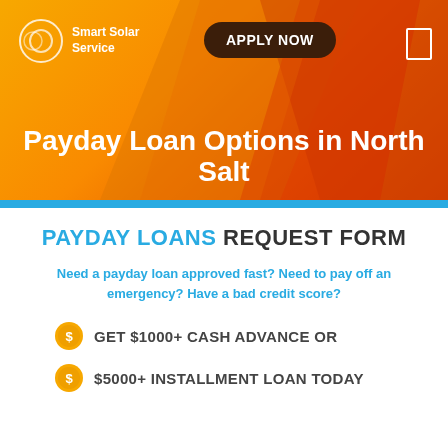[Figure (illustration): Orange/red gradient banner background with geometric triangle shapes in darker orange and red tones]
Smart Solar Service | APPLY NOW
Payday Loan Options in North Salt
PAYDAY LOANS REQUEST FORM
Need a payday loan approved fast? Need to pay off an emergency? Have a bad credit score?
GET $1000+ CASH ADVANCE OR
$5000+ INSTALLMENT LOAN TODAY